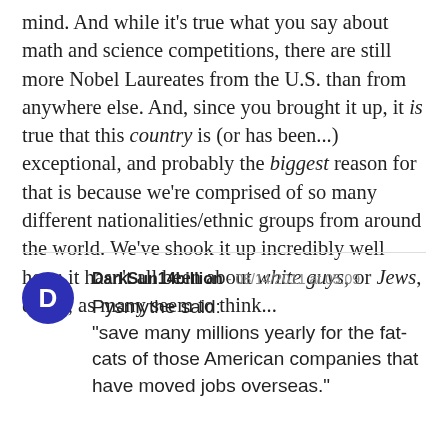mind. And while it's true what you say about math and science competitions, there are still more Nobel Laureates from the U.S. than from anywhere else. And, since you brought it up, it is true that this country is (or has been...) exceptional, and probably the biggest reason for that is because we're comprised of so many different nationalities/ethnic groups from around the world. We've shook it up incredibly well here; it hasn't all been about white guys, or Jews, either, as many seem to think...
DarkSun14billion - 08/14/2011 at 05:09
Pysmythe said:
"save many millions yearly for the fat-cats of those American companies that have moved jobs overseas."